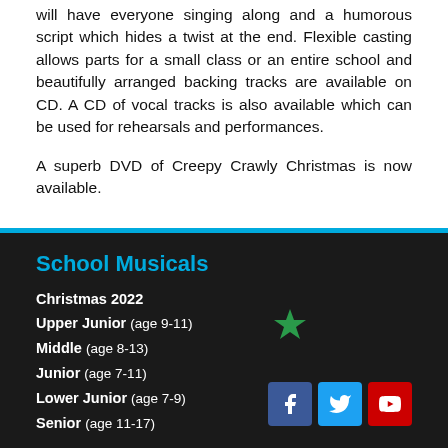will have everyone singing along and a humorous script which hides a twist at the end. Flexible casting allows parts for a small class or an entire school and beautifully arranged backing tracks are available on CD. A CD of vocal tracks is also available which can be used for rehearsals and performances.
A superb DVD of Creepy Crawly Christmas is now available.
School Musicals
Christmas 2022
Upper Junior (age 9-11)
Middle (age 8-13)
Junior (age 7-11)
Lower Junior (age 7-9)
Senior (age 11-17)
[Figure (other): Green star icon]
[Figure (other): Social media icons: Facebook, Twitter, YouTube]